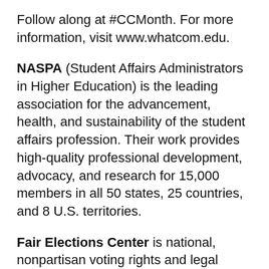Follow along at #CCMonth. For more information, visit www.whatcom.edu.
NASPA (Student Affairs Administrators in Higher Education) is the leading association for the advancement, health, and sustainability of the student affairs profession. Their work provides high-quality professional development, advocacy, and research for 15,000 members in all 50 states, 25 countries, and 8 U.S. territories.
Fair Elections Center is national, nonpartisan voting rights and legal support organization that works to eliminate barriers to voting and improve election administration across the United States. Fair Elections Center's Campus Vote Project works with universities, community colleges, faculty, students and election officials to reduce barriers to student voting and helps campuses institutionalize reforms